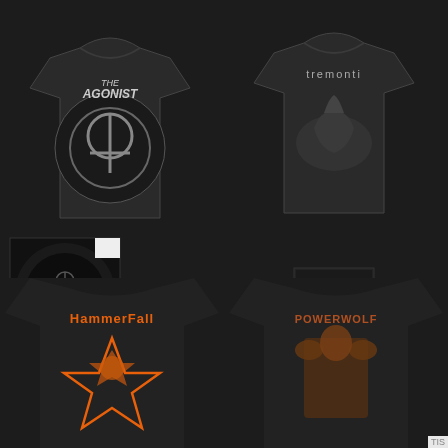[Figure (photo): THE AGONIST Orphans Black LP Gatefold + T-Shirt Bundle product image showing black t-shirt with Agonist logo and vinyl record]
[Figure (photo): TREMONTI A Dying Machine Limited Edition Digipack CD + T-Shirt Bundle product image showing black t-shirt with Tremonti logo and CD]
THE AGONIST – Orphans / BLACK LP Gatefold + T- Shirt Bundle
$32.99
TREMONTI-A Dying Machine/Limited Edition Digipack CD + T-Shirt Bundle
$25.99
[Figure (photo): HammerFall black t-shirt with orange pentagram and band logo on back]
[Figure (photo): Powerwolf black t-shirt with warrior illustration and band logo on back]